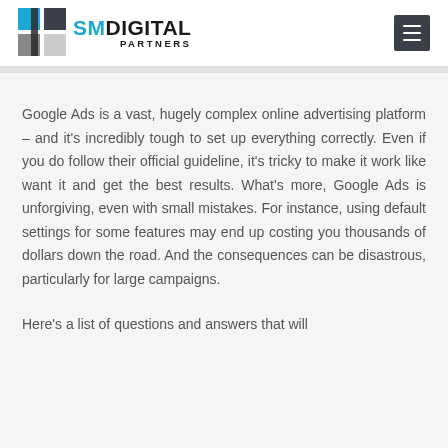[Figure (logo): SM Digital Partners logo with blue and grey square icon on the left, and 'SMDIGITAL PARTNERS' text on the right]
Google Ads is a vast, hugely complex online advertising platform – and it's incredibly tough to set up everything correctly. Even if you do follow their official guideline, it's tricky to make it work like want it and get the best results. What's more, Google Ads is unforgiving, even with small mistakes. For instance, using default settings for some features may end up costing you thousands of dollars down the road. And the consequences can be disastrous, particularly for large campaigns.
Here's a list of questions and answers that will